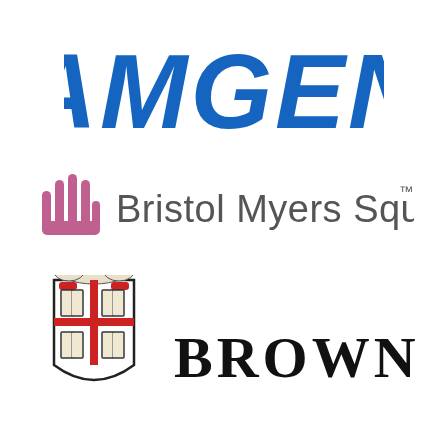[Figure (logo): Amgen company logo — bold italic blue text 'AMGEN']
[Figure (logo): Bristol Myers Squibb logo — pink hand icon with grey text 'Bristol Myers Squibb' and trademark symbol]
[Figure (logo): Brown University logo — university crest/shield with red cross and books, with 'BROWN' text in serif font]